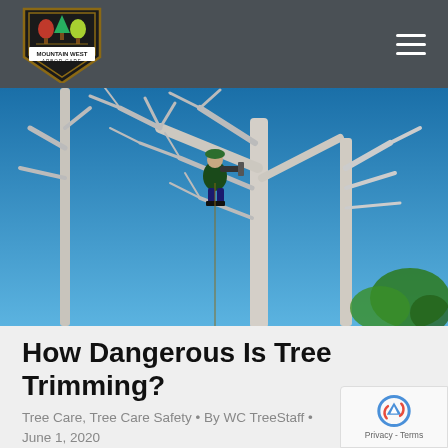Mountain West Arbor Care
[Figure (photo): A tree trimmer in a green cap and dark clothing stands high in a bare-branched tree using a chainsaw, against a clear blue sky.]
How Dangerous Is Tree Trimming?
Tree Care, Tree Care Safety • By WC TreeStaff • June 1, 2020